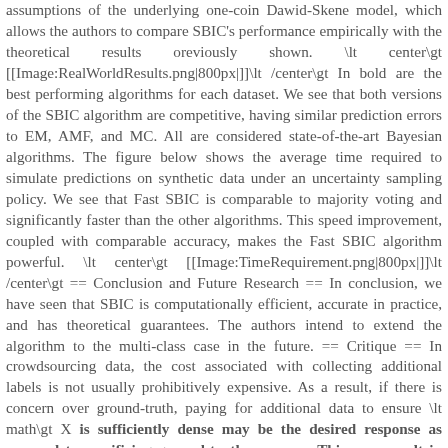assumptions of the underlying one-coin Dawid-Skene model, which allows the authors to compare SBIC's performance empirically with the theoretical results oreviously shown. \lt center\gt [[Image:RealWorldResults.png|800px|]]\lt /center\gt In bold are the best performing algorithms for each dataset. We see that both versions of the SBIC algorithm are competitive, having similar prediction errors to EM, AMF, and MC. All are considered state-of-the-art Bayesian algorithms. The figure below shows the average time required to simulate predictions on synthetic data under an uncertainty sampling policy. We see that Fast SBIC is comparable to majority voting and significantly faster than the other algorithms. This speed improvement, coupled with comparable accuracy, makes the Fast SBIC algorithm powerful. \lt center\gt [[Image:TimeRequirement.png|800px|]]\lt /center\gt == Conclusion and Future Research == In conclusion, we have seen that SBIC is computationally efficient, accurate in practice, and has theoretical guarantees. The authors intend to extend the algorithm to the multi-class case in the future. == Critique == In crowdsourcing data, the cost associated with collecting additional labels is not usually prohibitively expensive. As a result, if there is concern over ground-truth, paying for additional data to ensure \lt math\gt X is sufficiently dense may be the desired response as opposed to sacrificing ground-truth accuracy. This may result in the SBIC algorithm being less particularly useful than stated.